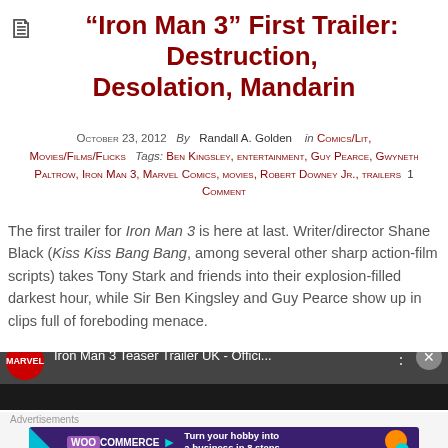“Iron Man 3” First Trailer: Destruction, Desolation, Mandarin
October 23, 2012  By  Randall A. Golden   in Comics/Lit, Movies/Films/Flicks  Tags: Ben Kingsley, entertainment, Guy Pearce, Gwyneth Paltrow, Iron Man 3, Marvel Comics, movies, Robert Downey Jr., trailers  1 Comment
The first trailer for Iron Man 3 is here at last. Writer/director Shane Black (Kiss Kiss Bang Bang, among several other sharp action-film scripts) takes Tony Stark and friends into their explosion-filled darkest hour, while Sir Ben Kingsley and Guy Pearce show up in clips full of foreboding menace.

Cheers!
[Figure (screenshot): Marvel Iron Man 3 Teaser Trailer UK - Official video player bar]
[Figure (other): WooCommerce advertisement banner: Turn your hobby into a business in 8 steps]